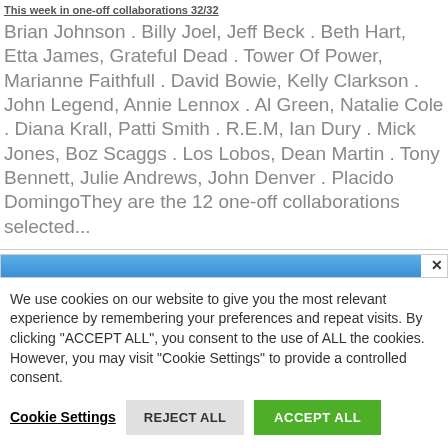This week in one-off collaborations 32/32
Brian Johnson . Billy Joel, Jeff Beck . Beth Hart, Etta James, Grateful Dead . Tower Of Power, Marianne Faithfull . David Bowie, Kelly Clarkson . John Legend, Annie Lennox . Al Green, Natalie Cole . Diana Krall, Patti Smith . R.E.M, Ian Dury . Mick Jones, Boz Scaggs . Los Lobos, Dean Martin . Tony Bennett, Julie Andrews, John Denver . Placido DomingoThey are the 12 one-off collaborations selected...
[Figure (other): Blue advertisement bar with close (X) button]
We use cookies on our website to give you the most relevant experience by remembering your preferences and repeat visits. By clicking "ACCEPT ALL", you consent to the use of ALL the cookies. However, you may visit "Cookie Settings" to provide a controlled consent.
Cookie Settings   REJECT ALL   ACCEPT ALL